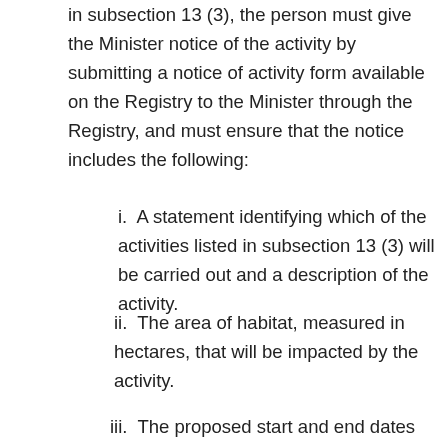in subsection 13 (3), the person must give the Minister notice of the activity by submitting a notice of activity form available on the Registry to the Minister through the Registry, and must ensure that the notice includes the following:
i.  A statement identifying which of the activities listed in subsection 13 (3) will be carried out and a description of the activity.
ii.  The area of habitat, measured in hectares, that will be impacted by the activity.
iii.  The proposed start and end dates